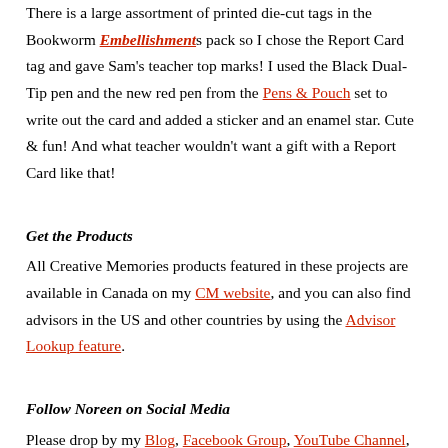There is a large assortment of printed die-cut tags in the Bookworm Embellishments pack so I chose the Report Card tag and gave Sam's teacher top marks! I used the Black Dual-Tip pen and the new red pen from the Pens & Pouch set to write out the card and added a sticker and an enamel star. Cute & fun! And what teacher wouldn't want a gift with a Report Card like that!
Get the Products
All Creative Memories products featured in these projects are available in Canada on my CM website, and you can also find advisors in the US and other countries by using the Advisor Lookup feature.
Follow Noreen on Social Media
Please drop by my Blog, Facebook Group, YouTube Channel, or my Instagram feed for more ideas and inspiration – I create monthly layout and card sketches, and showcase new Creative